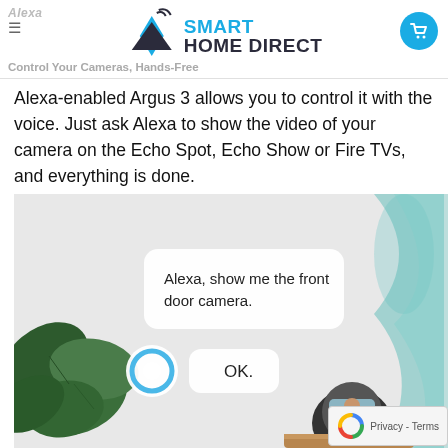Alexa | Smart Home Direct — Control Your Cameras, Hands-Free
Alexa-enabled Argus 3 allows you to control it with the voice. Just ask Alexa to show the video of your camera on the Echo Spot, Echo Show or Fire TVs, and everything is done.
[Figure (photo): Photo of an Amazon Echo Spot device on a wooden table with a plant in the background. An Alexa voice command bubble reads 'Alexa, show me the front door camera.' with an OK response bubble and the Alexa ring icon below. A hourglass-shaped decorative item is visible on the right side.]